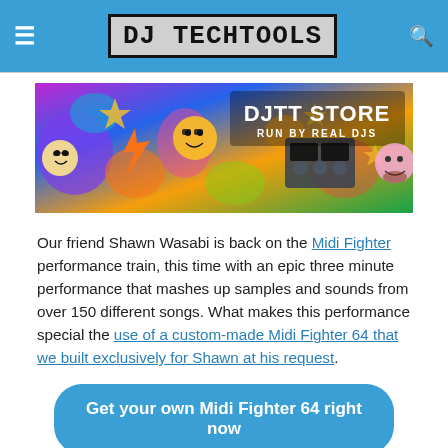DJ TECHTOOLS
[Figure (illustration): DJTT Store banner with colorful cartoon DJs and the text 'DJTT STORE RUN BY REAL DJS']
Our friend Shawn Wasabi is back on the Midi Fighter performance train, this time with an epic three minute performance that mashes up samples and sounds from over 150 different songs. What makes this performance special the use of a custom-made Midi Fighter 64 that we built exclusively for Shawn at his request.
Get your own Midi Fighter 64 right now
Behind Shawn's Performance